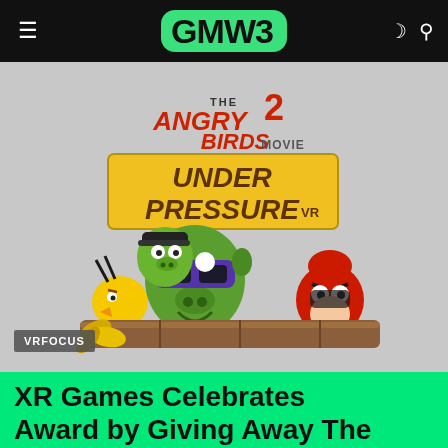GMW3
[Figure (illustration): Angry Birds Movie 2: Under Pressure VR promotional artwork showing animated pig characters wearing VR headsets and the red Angry Birds character, with the movie logo at the top. Badge overlay reads VRFOCUS.]
XR Games Celebrates Award by Giving Away The